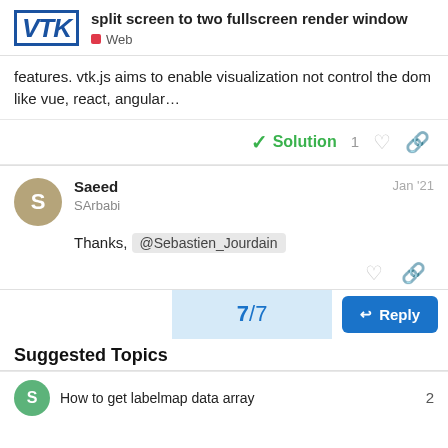split screen to two fullscreen render window — Web
features. vtk.js aims to enable visualization not control the dom like vue, react, angular…
✓ Solution   1 ♡ 🔗
Saeed SArbabi   Jan '21
Thanks,  @Sebastien_Jourdain
7 / 7
Reply
Suggested Topics
How to get labelmap data array   2